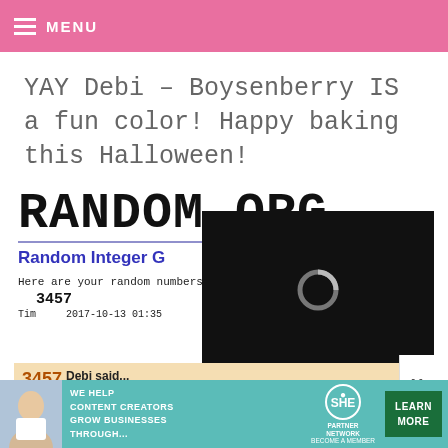≡ MENU
YAY Debi – Boysenberry IS a fun color! Happy baking this Halloween!
[Figure (screenshot): Screenshot of random.org showing 'RANDOM.ORG' header, 'Random Integer G...' section title, random number 3457, timestamp, overlaid with a video player showing a loading spinner and controls at 13:52, plus a comment from Debi: '3457 - Debi said... The Boysenberry sure is a fun color! I'm making the Itty-Bitty Bat Cupcake recipe!']
[Figure (infographic): SHE Partner Network advertisement banner: 'WE HELP CONTENT CREATORS GROW BUSINESSES THROUGH...' with SHE logo and 'LEARN MORE' button]